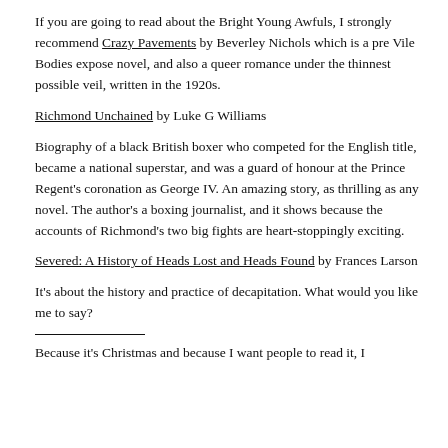smug twat instead.
If you are going to read about the Bright Young Awfuls, I strongly recommend Crazy Pavements by Beverley Nichols which is a pre Vile Bodies expose novel, and also a queer romance under the thinnest possible veil, written in the 1920s.
Richmond Unchained by Luke G Williams
Biography of a black British boxer who competed for the English title, became a national superstar, and was a guard of honour at the Prince Regent's coronation as George IV. An amazing story, as thrilling as any novel. The author's a boxing journalist, and it shows because the accounts of Richmond's two big fights are heart-stoppingly exciting.
Severed: A History of Heads Lost and Heads Found by Frances Larson
It's about the history and practice of decapitation. What would you like me to say?
Because it's Christmas and because I want people to read it, I